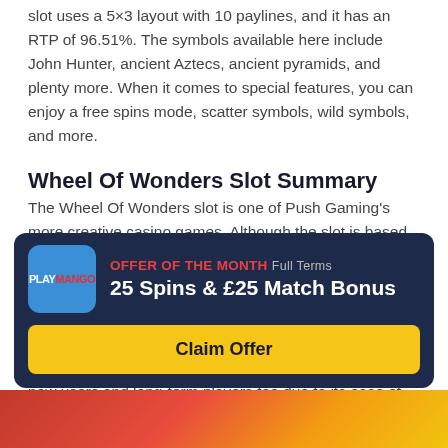slot uses a 5×3 layout with 10 paylines, and it has an RTP of 96.51%. The symbols available here include John Hunter, ancient Aztecs, ancient pyramids, and plenty more. When it comes to special features, you can enjoy a free spins mode, scatter symbols, wild symbols, and more.
Wheel Of Wonders Slot Summary
The Wheel Of Wonders slot is one of Push Gaming's more creative casino games. Although the slot is based on a rather generic theme, the visuals are great and the music fun to listen to. What's more, the game has numerous special features, with an expandable reel and paylines to help boost your winning potential.
We believe the Wheel Of Wonders slot is great for both new users and long-term players too due to its ease of access and for
[Figure (infographic): Offer of the month banner for PlayMango casino: 25 Spins & £25 Match Bonus with Claim Offer button]
[Figure (photo): Bottom image strip showing colorful casino-related imagery]